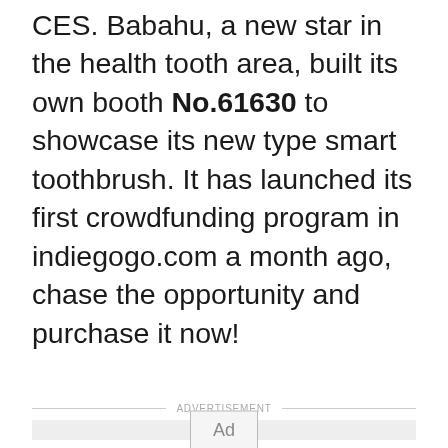CES. Babahu, a new star in the health tooth area, built its own booth No.61630 to showcase its new type smart toothbrush. It has launched its first crowdfunding program in indiegogo.com a month ago, chase the opportunity and purchase it now!
ADVERTISEMENT
[Figure (other): Advertisement placeholder box with an 'Ad' button in the center]